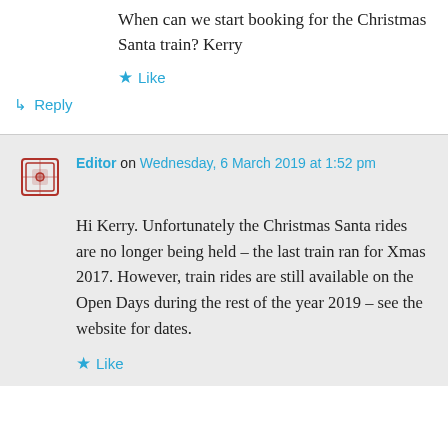When can we start booking for the Christmas Santa train? Kerry
★ Like
↳ Reply
Editor on Wednesday, 6 March 2019 at 1:52 pm
Hi Kerry. Unfortunately the Christmas Santa rides are no longer being held – the last train ran for Xmas 2017. However, train rides are still available on the Open Days during the rest of the year 2019 – see the website for dates.
★ Like